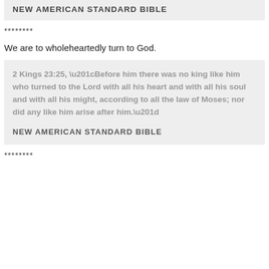NEW AMERICAN STANDARD BIBLE
********
We are to wholeheartedly turn to God.
2 Kings 23:25, “Before him there was no king like him who turned to the Lord with all his heart and with all his soul and with all his might, according to all the law of Moses; nor did any like him arise after him.” NEW AMERICAN STANDARD BIBLE
********